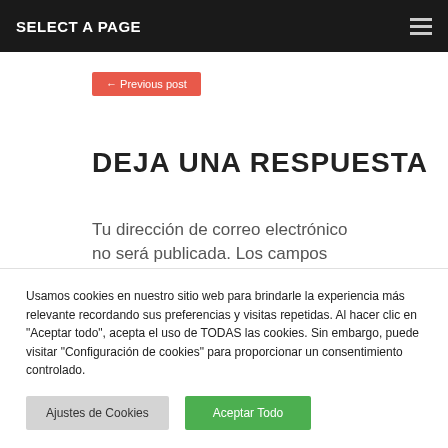SELECT A PAGE
← Previous post
DEJA UNA RESPUESTA
Tu dirección de correo electrónico no será publicada. Los campos
Usamos cookies en nuestro sitio web para brindarle la experiencia más relevante recordando sus preferencias y visitas repetidas. Al hacer clic en "Aceptar todo", acepta el uso de TODAS las cookies. Sin embargo, puede visitar "Configuración de cookies" para proporcionar un consentimiento controlado.
Ajustes de Cookies
Aceptar Todo